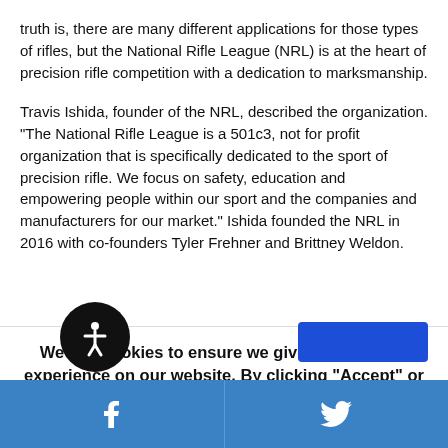truth is, there are many different applications for those types of rifles, but the National Rifle League (NRL) is at the heart of precision rifle competition with a dedication to marksmanship.
Travis Ishida, founder of the NRL, described the organization. "The National Rifle League is a 501c3, not for profit organization that is specifically dedicated to the sport of precision rifle. We focus on safety, education and empowering people within our sport and the companies and manufacturers for our market." Ishida founded the NRL in 2016 with co-founders Tyler Frehner and Brittney Weldon.
We use cookies to ensure we give you the best experience on our website. By clicking "Accept" or using our website, you consent to the use of cookies unless